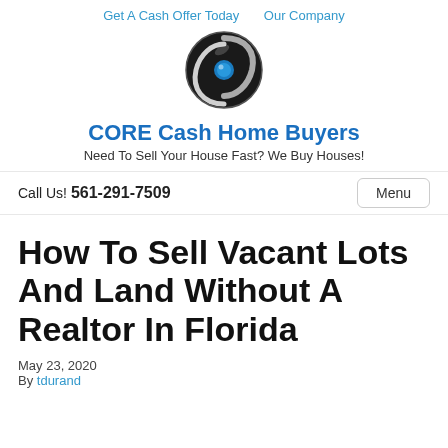Get A Cash Offer Today   Our Company
[Figure (logo): CORE Cash Home Buyers circular logo with swirl and blue dot]
CORE Cash Home Buyers
Need To Sell Your House Fast? We Buy Houses!
Call Us! 561-291-7509
Menu
How To Sell Vacant Lots And Land Without A Realtor In Florida
May 23, 2020
By tdurand